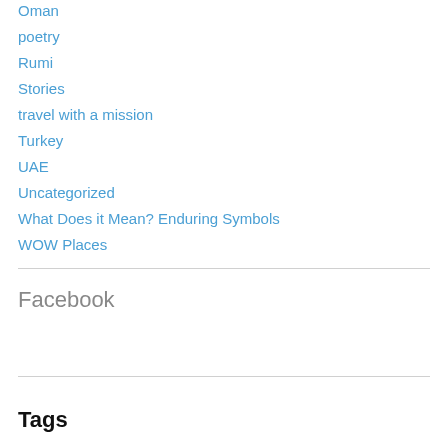Oman
poetry
Rumi
Stories
travel with a mission
Turkey
UAE
Uncategorized
What Does it Mean? Enduring Symbols
WOW Places
Facebook
Tags
Abu Dhabi abu simbel Amman Arabian Peninsula aswan